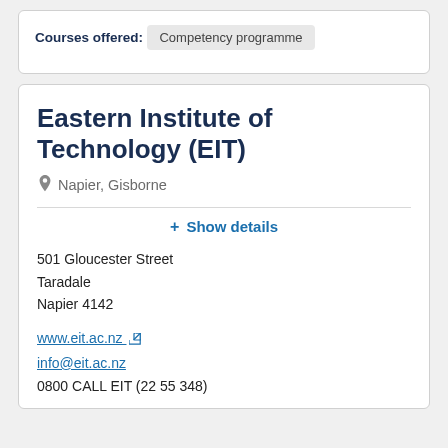Courses offered:
Competency programme
Eastern Institute of Technology (EIT)
Napier, Gisborne
+ Show details
501 Gloucester Street
Taradale
Napier 4142
www.eit.ac.nz
info@eit.ac.nz
0800 CALL EIT (22 55 348)